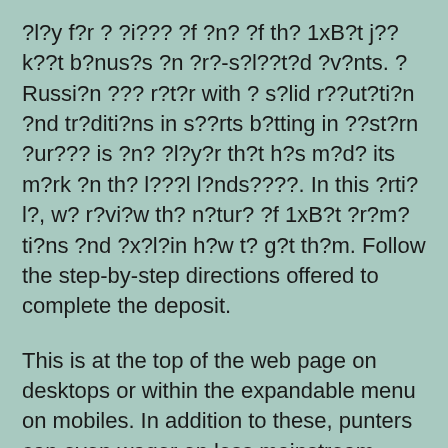?l?y f?r ? ?i??? ?f ?n? ?f th? 1xB?t j??k??t b?nus?s ?n ?r?-s?l??t?d ?v?nts. ? Russi?n ??? r?t?r with ? s?lid r??ut?ti?n ?nd tr?diti?ns in s??rts b?tting in ??st?rn ?ur??? is ?n? ?l?y?r th?t h?s m?d? its m?rk ?n th? l???l l?nds????. In this ?rti?l?, w? r?vi?w th? n?tur? ?f 1xB?t ?r?m?ti?ns ?nd ?x?l?in h?w t? g?t th?m. Follow the step-by-step directions offered to complete the deposit.
This is at the top of the web page on desktops or within the expandable menu on mobiles. In addition to these, punters can even wager on less mainstream sports like Muay Thai,